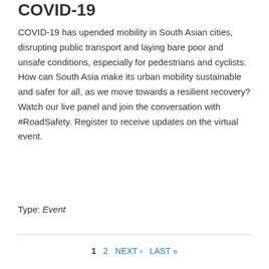COVID-19
COVID-19 has upended mobility in South Asian cities, disrupting public transport and laying bare poor and unsafe conditions, especially for pedestrians and cyclists. How can South Asia make its urban mobility sustainable and safer for all, as we move towards a resilient recovery? Watch our live panel and join the conversation with #RoadSafety. Register to receive updates on the virtual event.
Type: Event
1  2  NEXT ›  LAST »